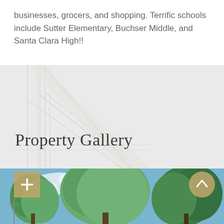businesses, grocers, and shopping. Terrific schools include Sutter Elementary, Buchser Middle, and Santa Clara High!!
Property Gallery
[Figure (photo): Outdoor photo showing tall green trees against a blue sky with clouds, property exterior view]